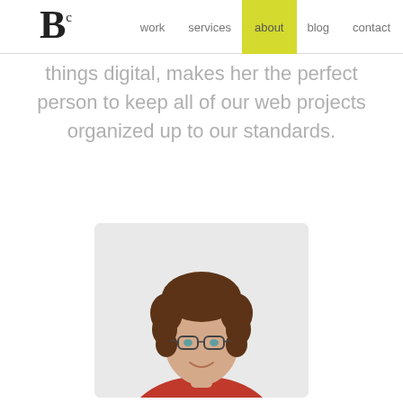Bc — work | services | about | blog | contact
things digital, makes her the perfect person to keep all of our web projects organized up to our standards.
[Figure (photo): Headshot photo of a woman with curly brown hair, glasses, and a red top, shown from shoulders up against a light grey background.]